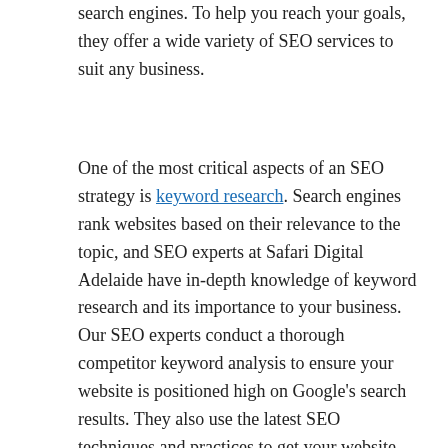search engines. To help you reach your goals, they offer a wide variety of SEO services to suit any business.
One of the most critical aspects of an SEO strategy is keyword research. Search engines rank websites based on their relevance to the topic, and SEO experts at Safari Digital Adelaide have in-depth knowledge of keyword research and its importance to your business. Our SEO experts conduct a thorough competitor keyword analysis to ensure your website is positioned high on Google's search results. They also use the latest SEO techniques and practices to get your website noticed and increase organic traffic. Hire professional SEO Adelaide at https:/digitalseo.com.au now.